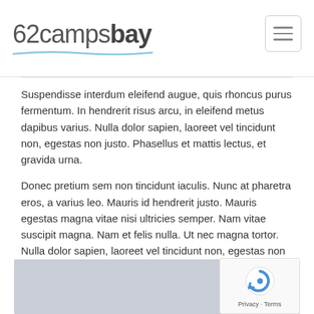62campsbay
Suspendisse interdum eleifend augue, quis rhoncus purus fermentum. In hendrerit risus arcu, in eleifend metus dapibus varius. Nulla dolor sapien, laoreet vel tincidunt non, egestas non justo. Phasellus et mattis lectus, et gravida urna.
Donec pretium sem non tincidunt iaculis. Nunc at pharetra eros, a varius leo. Mauris id hendrerit justo. Mauris egestas magna vitae nisi ultricies semper. Nam vitae suscipit magna. Nam et felis nulla. Ut nec magna tortor. Nulla dolor sapien, laoreet vel tincidunt non, egestas non justo.
Other Rooms
[Figure (photo): Gray placeholder image for a room photo]